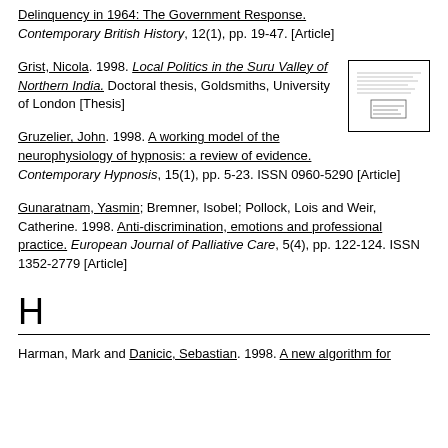Delinquency in 1964: The Government Response. Contemporary British History, 12(1), pp. 19-47. [Article]
Grist, Nicola. 1998. Local Politics in the Suru Valley of Northern India. Doctoral thesis, Goldsmiths, University of London [Thesis]
[Figure (other): Thumbnail image of a document page showing text and a small chart or figure]
Gruzelier, John. 1998. A working model of the neurophysiology of hypnosis: a review of evidence. Contemporary Hypnosis, 15(1), pp. 5-23. ISSN 0960-5290 [Article]
Gunaratnam, Yasmin; Bremner, Isobel; Pollock, Lois and Weir, Catherine. 1998. Anti-discrimination, emotions and professional practice. European Journal of Palliative Care, 5(4), pp. 122-124. ISSN 1352-2779 [Article]
H
Harman, Mark and Danicic, Sebastian. 1998. A new algorithm for...